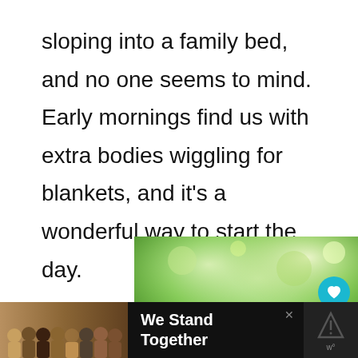sloping into a family bed, and no one seems to mind. Early mornings find us with extra bodies wiggling for blankets, and it’s a wonderful way to start the day.
[Figure (photo): Advertisement image showing fist bumps against a green bokeh background, with a close button (X) in the top-right corner]
[Figure (photo): Bottom advertisement bar with dark background showing people standing together with text 'We Stand Together' and an X close button]